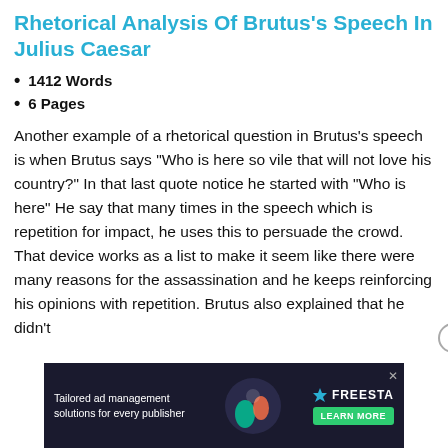Rhetorical Analysis Of Brutus's Speech In Julius Caesar
1412 Words
6 Pages
Another example of a rhetorical question in Brutus's speech is when Brutus says "Who is here so vile that will not love his country?" In that last quote notice he started with "Who is here" He say that many times in the speech which is repetition for impact, he uses this to persuade the crowd. That device works as a list to make it seem like there were many reasons for the assassination and he keeps reinforcing his opinions with repetition. Brutus also explained that he didn't
[Figure (other): Advertisement banner: Tailored ad management solutions for every publisher — FREESTA with LEARN MORE button and close X button]